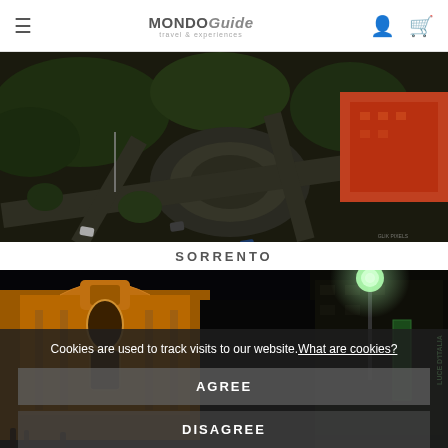MONDOguide navigation bar with hamburger menu, logo, user icon, and cart icon
[Figure (photo): Aerial daytime view of Sorrento streets with roundabout, trees, parked cars, orange buildings from above]
SORRENTO
[Figure (photo): Night street scene in Sorrento with illuminated baroque church facade and green street lamp, sign reading LUCE D'ITALIA]
Cookies are used to track visits to our website. What are cookies?
AGREE
DISAGREE